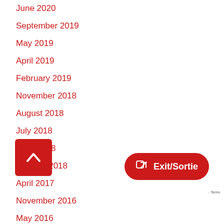June 2020
September 2019
May 2019
April 2019
February 2019
November 2018
August 2018
July 2018
June 2018
January 2018
April 2017
November 2016
May 2016
April 2016
[Figure (other): Back to top button — red rounded square with white chevron/caret pointing up]
[Figure (other): Exit/Sortie button — red pill-shaped button with share icon and white text 'Exit/Sortie']